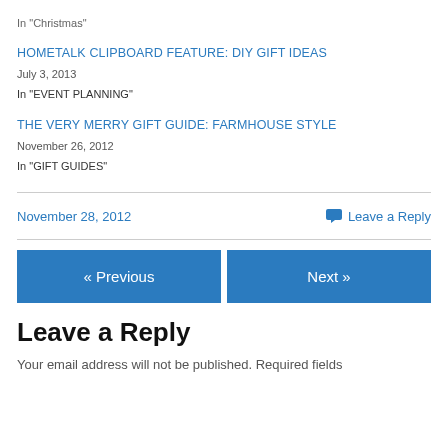In "Christmas"
HOMETALK CLIPBOARD FEATURE: DIY GIFT IDEAS
July 3, 2013
In "EVENT PLANNING"
THE VERY MERRY GIFT GUIDE: FARMHOUSE STYLE
November 26, 2012
In "GIFT GUIDES"
November 28, 2012
Leave a Reply
« Previous
Next »
Leave a Reply
Your email address will not be published. Required fields